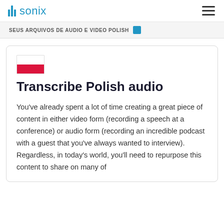sonix
SEUS ARQUIVOS DE AUDIO E VIDEO POLISH
[Figure (illustration): Polish national flag — white top half, red bottom half]
Transcribe Polish audio
You've already spent a lot of time creating a great piece of content in either video form (recording a speech at a conference) or audio form (recording an incredible podcast with a guest that you've always wanted to interview). Regardless, in today's world, you'll need to repurpose this content to share on many of